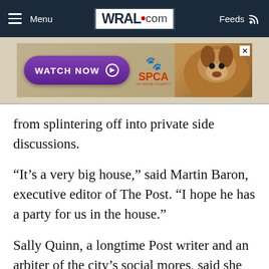Menu | WRAL.com | Feeds
[Figure (screenshot): Advertisement banner for SPCA of Wake County with 'WATCH NOW' button and dog photo]
from splintering off into private side discussions.
“It’s a very big house,” said Martin Baron, executive editor of The Post. “I hope he has a party for us in the house.”
Sally Quinn, a longtime Post writer and an arbiter of the city’s social mores, said she had no firsthand knowledge of Bezos’ plans